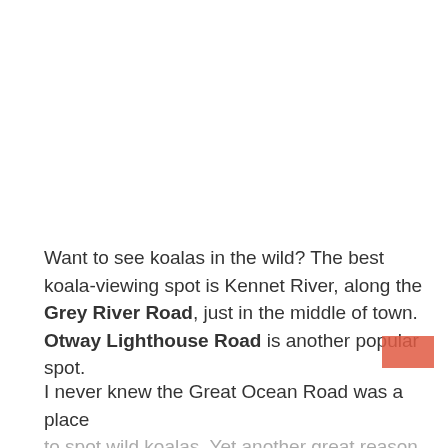Want to see koalas in the wild? The best koala-viewing spot is Kennet River, along the Grey River Road, just in the middle of town. Otway Lighthouse Road is another popular spot.
I never knew the Great Ocean Road was a place to spot wild koalas. Yet another great reason to visit the GOR.